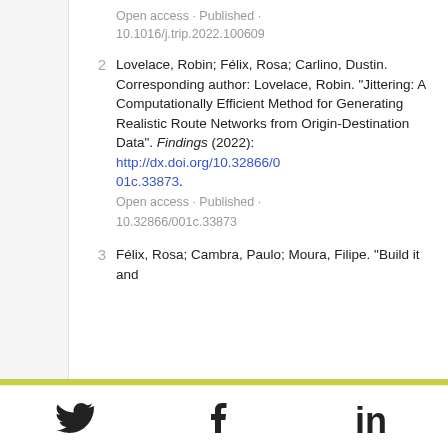Open access · Published · 10.1016/j.trip.2022.100609
2  Lovelace, Robin; Félix, Rosa; Carlino, Dustin. Corresponding author: Lovelace, Robin. "Jittering: A Computationally Efficient Method for Generating Realistic Route Networks from Origin-Destination Data". Findings (2022): http://dx.doi.org/10.32866/001c.33873. Open access · Published · 10.32866/001c.33873
3  Félix, Rosa; Cambra, Paulo; Moura, Filipe. "Build it and
Twitter  Facebook  LinkedIn